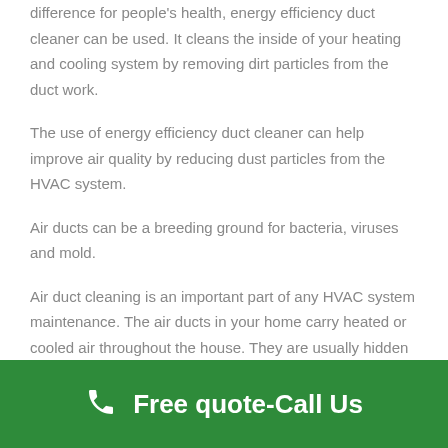difference for people's health, energy efficiency duct cleaner can be used. It cleans the inside of your heating and cooling system by removing dirt particles from the duct work.
The use of energy efficiency duct cleaner can help improve air quality by reducing dust particles from the HVAC system.
Air ducts can be a breeding ground for bacteria, viruses and mold.
Air duct cleaning is an important part of any HVAC system maintenance. The air ducts in your home carry heated or cooled air throughout the house. They are usually hidden behind walls, under floors and in ceilings. Dirty air ducts
Free quote-Call Us